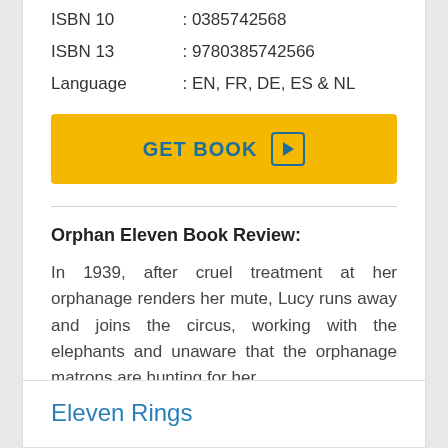| ISBN 10 | : 0385742568 |
| ISBN 13 | : 9780385742566 |
| Language | : EN, FR, DE, ES & NL |
[Figure (other): GET BOOK button with play icon]
Orphan Eleven Book Review:
In 1939, after cruel treatment at her orphanage renders her mute, Lucy runs away and joins the circus, working with the elephants and unaware that the orphanage matrons are hunting for her.
Eleven Rings